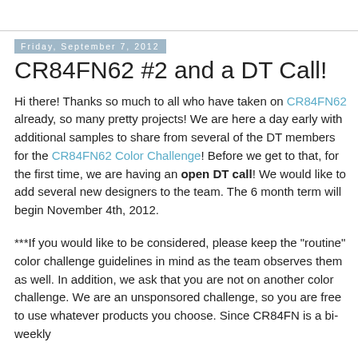Friday, September 7, 2012
CR84FN62 #2 and a DT Call!
Hi there! Thanks so much to all who have taken on CR84FN62 already, so many pretty projects! We are here a day early with additional samples to share from several of the DT members for the CR84FN62 Color Challenge! Before we get to that, for the first time, we are having an open DT call! We would like to add several new designers to the team. The 6 month term will begin November 4th, 2012.
***If you would like to be considered, please keep the "routine" color challenge guidelines in mind as the team observes them as well. In addition, we ask that you are not on another color challenge. We are an unsponsored challenge, so you are free to use whatever products you choose. Since CR84FN is a bi-weekly